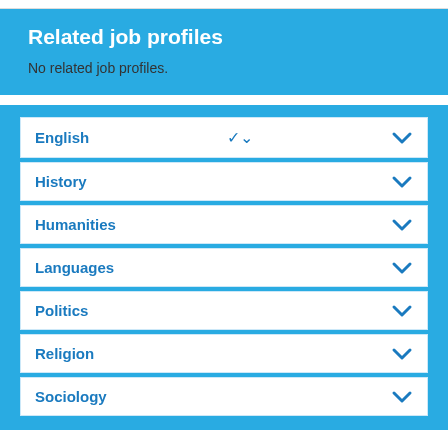Related job profiles
No related job profiles.
English
History
Humanities
Languages
Politics
Religion
Sociology
[Figure (map): Partial map thumbnail with location pin and 'Janesfield Manor' label]